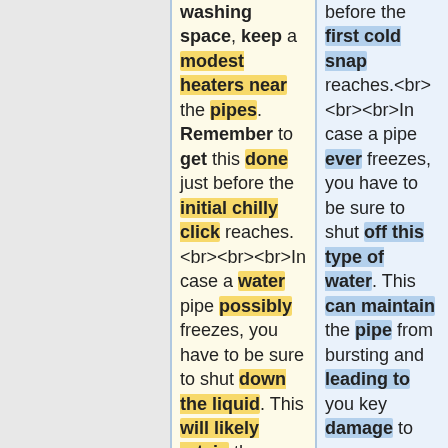washing space, keep a modest heaters near the pipes. Remember to get this done just before the initial chilly click reaches. <br><br><br>In case a water pipe possibly freezes, you have to be sure to shut down the liquid. This will likely retain the tubing from bursting and resulting in you key harm to your residence. Ensure that you
before the first cold snap reaches.<br><br>In case a pipe ever freezes, you have to be sure to shut off this type of water. This can maintain the pipe from bursting and leading to you key damage to your residence. Make sure to closed the liquid away in the main valve, after which wide open the sink which is nearest